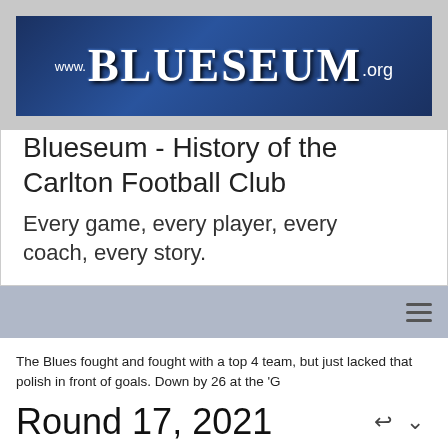[Figure (logo): Blueseum website banner logo with blue background showing www.BLUESEUM.org in large stylized text]
Blueseum - History of the Carlton Football Club
Every game, every player, every coach, every story.
The Blues fought and fought with a top 4 team, but just lacked that polish in front of goals. Down by 26 at the 'G
Round 17, 2021
|  | Q1 |  | Q2 |  | Q3 |  | Total |
| --- | --- | --- | --- | --- | --- | --- | --- |
| Carlton | 1.5 | 11 | 1.9 | 15 | 2.13 | 25 | 5.14 | 44 |
| Geelong? | 3.1 | 19 | 3.4 | 22 | 5.7 | 37 | 10.10 | 70 |